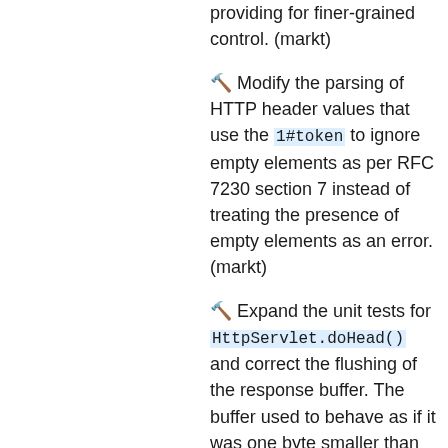providing for finer-grained control. (markt)
🔨 Modify the parsing of HTTP header values that use the 1#token to ignore empty elements as per RFC 7230 section 7 instead of treating the presence of empty elements as an error. (markt)
🔨 Expand the unit tests for HttpServlet.doHead() and correct the flushing of the response buffer. The buffer used to behave as if it was one byte smaller than the configured size. The buffer was flushed (and the response committed if required) when the buffer was full.